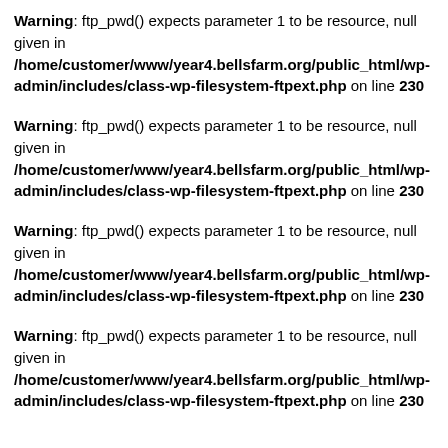Warning: ftp_pwd() expects parameter 1 to be resource, null given in /home/customer/www/year4.bellsfarm.org/public_html/wp-admin/includes/class-wp-filesystem-ftpext.php on line 230
Warning: ftp_pwd() expects parameter 1 to be resource, null given in /home/customer/www/year4.bellsfarm.org/public_html/wp-admin/includes/class-wp-filesystem-ftpext.php on line 230
Warning: ftp_pwd() expects parameter 1 to be resource, null given in /home/customer/www/year4.bellsfarm.org/public_html/wp-admin/includes/class-wp-filesystem-ftpext.php on line 230
Warning: ftp_pwd() expects parameter 1 to be resource, null given in /home/customer/www/year4.bellsfarm.org/public_html/wp-admin/includes/class-wp-filesystem-ftpext.php on line 230